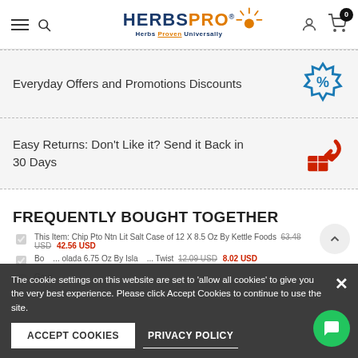HERBSPRO — Herbs Proven Universally
Everyday Offers and Promotions Discounts
Easy Returns: Don't Like it? Send it Back in 30 Days
FREQUENTLY BOUGHT TOGETHER
This Item: Chip Pto Ntn Lit Salt Case of 12 X 8.5 Oz By Kettle Foods 63.48 USD 42.56 USD
Boli... olada 6.75 Oz By Isla... Twist 12.09 USD 8.02 USD
The cookie settings on this website are set to 'allow all cookies' to give you the very best experience. Please click Accept Cookies to continue to use the site.
ACCEPT COOKIES | PRIVACY POLICY